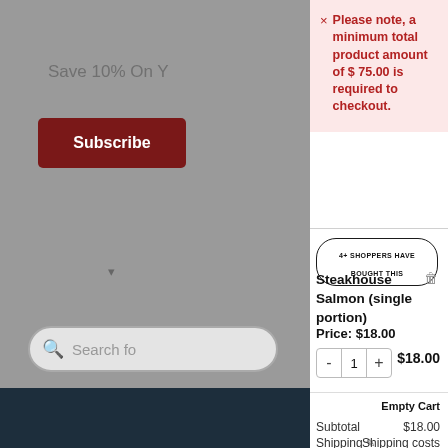[Figure (screenshot): Dimmed background showing partial e-commerce website with 'Save 10% On Y...' text, Subscribe button, search bar, and teal search button]
× Please note, a minimum total product amount of $ 75.00 is required to checkout.
4+ SHOPPERS HAVE BOUGHT THIS
Steakhouse Salmon (single portion)
Price: $18.00
- 1 + $18.00
Empty Cart
Subtotal $18.00
Shipping ✎ Shipping costs are calculated during checkout